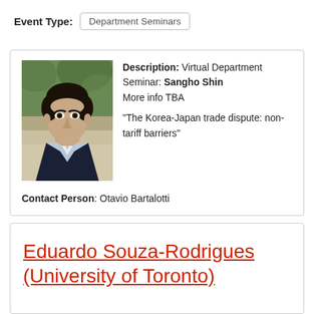Event Type: Department Seminars
[Figure (photo): Headshot photo of Sangho Shin, a man in a dark suit with light shirt, outdoors with greenery in background]
Description: Virtual Department Seminar: Sangho Shin
More info TBA

"The Korea-Japan trade dispute: non-tariff barriers"
Contact Person: Otavio Bartalotti
Eduardo Souza-Rodrigues (University of Toronto)